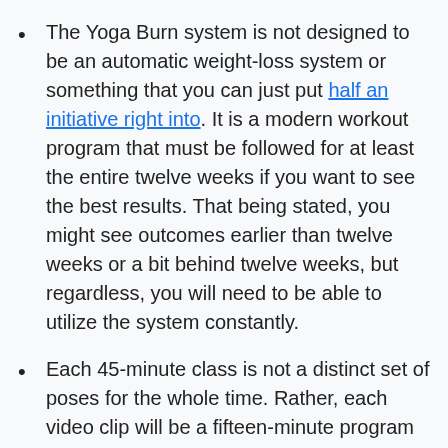The Yoga Burn system is not designed to be an automatic weight-loss system or something that you can just put half an initiative right into. It is a modern workout program that must be followed for at least the entire twelve weeks if you want to see the best results. That being stated, you might see outcomes earlier than twelve weeks or a bit behind twelve weeks, but regardless, you will need to be able to utilize the system constantly.
Each 45-minute class is not a distinct set of poses for the whole time. Rather, each video clip will be a fifteen-minute program that you duplicate three times. Rep is an important part of the program as well as allows you to